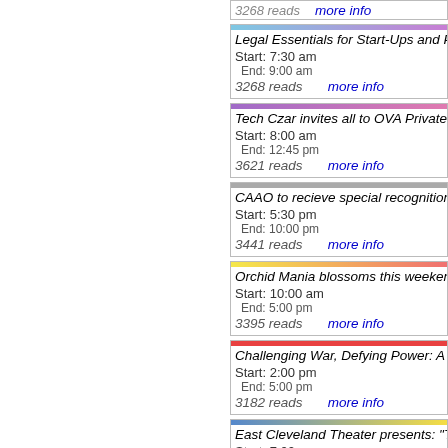Legal Essentials for Start-Ups and Pitfalls... Start: 7:30 am End: 9:00 am 3268 reads more info
Tech Czar invites all to OVA Private Equity... Start: 8:00 am End: 12:45 pm 3621 reads more info
CAAO to recieve special recognition at Fr... Start: 5:30 pm End: 10:00 pm 3441 reads more info
Orchid Mania blossoms this weekend ano... Start: 10:00 am End: 5:00 pm 3395 reads more info
Challenging War, Defying Power: A Forum... Start: 2:00 pm End: 5:00 pm 3182 reads more info
East Cleveland Theater presents: "The Ar... Start: 7:00 pm End: 9:30 pm 6164 reads more info